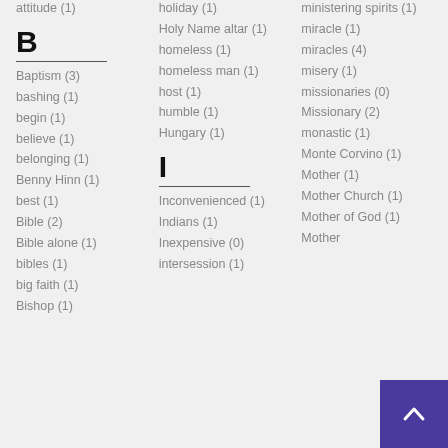attitude (1)
B
Baptism (3)
bashing (1)
begin (1)
believe (1)
belonging (1)
Benny Hinn (1)
best (1)
Bible (2)
Bible alone (1)
bibles (1)
big faith (1)
Bishop (1)
holiday (1)
Holy Name altar (1)
homeless (1)
homeless man (1)
host (1)
humble (1)
Hungary (1)
I
Inconvenienced (1)
Indians (1)
Inexpensive (0)
intersession (1)
ministering spirits (1)
miracle (1)
miracles (4)
misery (1)
missionaries (0)
Missionary (2)
monastic (1)
Monte Corvino (1)
Mother (1)
Mother Church (1)
Mother of God (1)
Mother